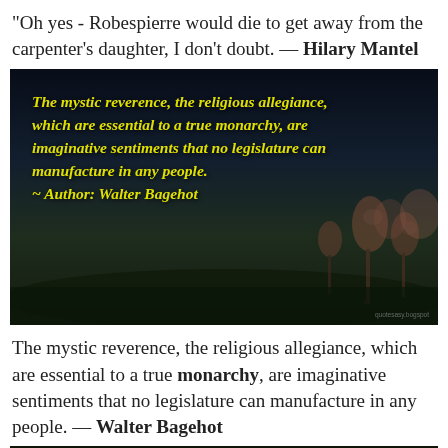"Oh yes - Robespierre would die to get away from the carpenter's daughter, I don't doubt. — Hilary Mantel
[Figure (photo): Dark atmospheric photo of flamingos at water's edge at night/dusk, with yellow italic text overlay quoting Walter Bagehot about mystic reverence and monarchy]
The mystic reverence, the religious allegiance, which are essential to a true monarchy, are imaginative sentiments that no legislature can manufacture in any people. — Walter Bagehot
[Figure (photo): Dark image, bottom portion visible, appears to be a dark nature/outdoor scene]